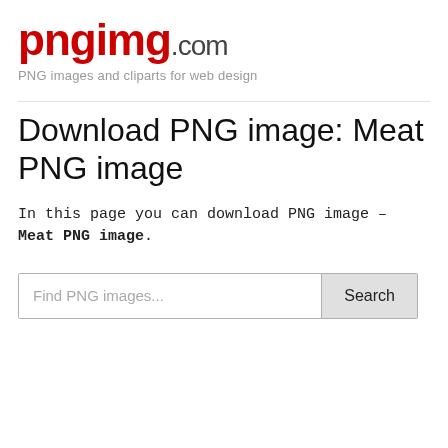[Figure (logo): pngimg.com logo with 'pngimg' in red bold text and '.com' in dark gray]
PNG images and cliparts for web design
Download PNG image: Meat PNG image
In this page you can download PNG image – Meat PNG image.